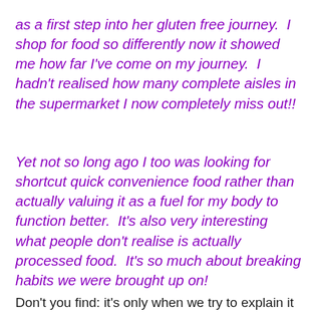as a first step into her gluten free journey.  I shop for food so differently now it showed me how far I've come on my journey.  I hadn't realised how many complete aisles in the supermarket I now completely miss out!!
Yet not so long ago I too was looking for shortcut quick convenience food rather than actually valuing it as a fuel for my body to function better.  It's also very interesting what people don't realise is actually processed food.  It's so much about breaking habits we were brought up on!
Don't you find: it's only when we try to explain it to someone else we really realise how differently we think